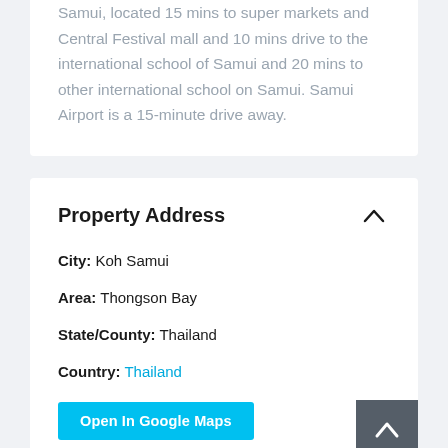Samui, located 15 mins to super markets and Central Festival mall and 10 mins drive to the international school of Samui and 20 mins to other international school on Samui. Samui Airport is a 15-minute drive away.
Property Address
City: Koh Samui
Area: Thongson Bay
State/County: Thailand
Country: Thailand
Open In Google Maps